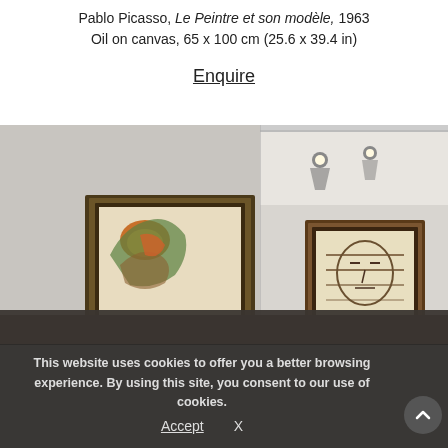Pablo Picasso, Le Peintre et son modèle, 1963
Oil on canvas, 65 x 100 cm (25.6 x 39.4 in)
Enquire
[Figure (photo): Gallery installation view showing two framed paintings hung on a white wall with track lighting. Left painting is abstract with warm tones (orange/green). Right painting appears to be a portrait/face in muted tones.]
This website uses cookies to offer you a better browsing experience. By using this site, you consent to our use of cookies.
Accept
X